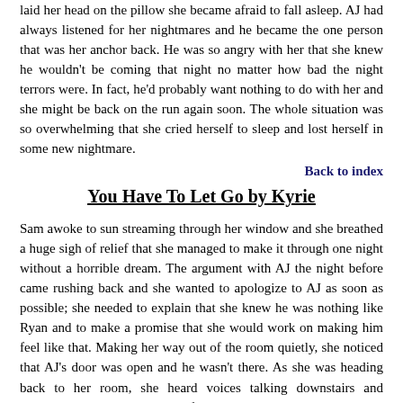laid her head on the pillow she became afraid to fall asleep. AJ had always listened for her nightmares and he became the one person that was her anchor back. He was so angry with her that she knew he wouldn't be coming that night no matter how bad the night terrors were. In fact, he'd probably want nothing to do with her and she might be back on the run again soon. The whole situation was so overwhelming that she cried herself to sleep and lost herself in some new nightmare.
Back to index
You Have To Let Go by Kyrie
Sam awoke to sun streaming through her window and she breathed a huge sigh of relief that she managed to make it through one night without a horrible dream. The argument with AJ the night before came rushing back and she wanted to apologize to AJ as soon as possible; she needed to explain that she knew he was nothing like Ryan and to make a promise that she would work on making him feel like that. Making her way out of the room quietly, she noticed that AJ's door was open and he wasn't there. As she was heading back to her room, she heard voices talking downstairs and immediately realized that one of those voices belonged to Ryan.
She raced into the bedroom and quickly shut the door. While she looked around for a place to hide, she heard two sets of footsteps make their way upstairs and then down to her room. All of a